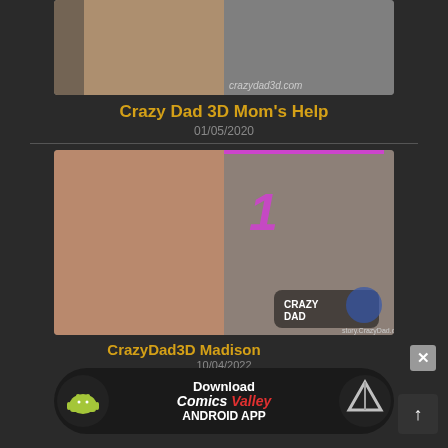[Figure (illustration): Top thumbnail: 3D animated scene with figures on a bed, crazydad3d.com watermark]
Crazy Dad 3D Mom's Help
01/05/2020
[Figure (illustration): Mid thumbnail: 3D animated character from behind in thong, number 1 in purple, CrazyDad logo with US flag, story.CrazyDad.com watermark]
CrazyDad3D Madison
10/04/2022
[Figure (infographic): Download banner for Comics Valley Android App with Android robot icon and Comics Valley logo]